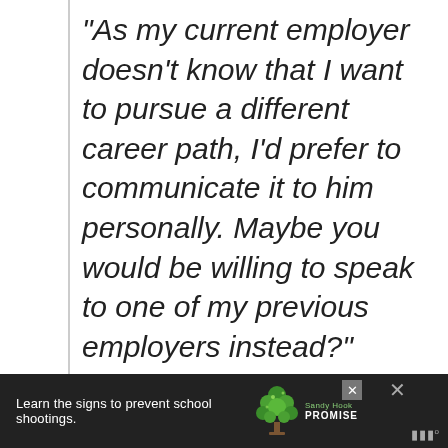“As my current employer doesn’t know that I want to pursue a different career path, I’d prefer to communicate it to him personally. Maybe you would be willing to speak to one of my previous employers instead?”
[Figure (other): Advertisement bar for Sandy Hook Promise: dark background with text 'Learn the signs to prevent school shootings.' and Sandy Hook Promise logo with tree graphic. Close buttons visible.]